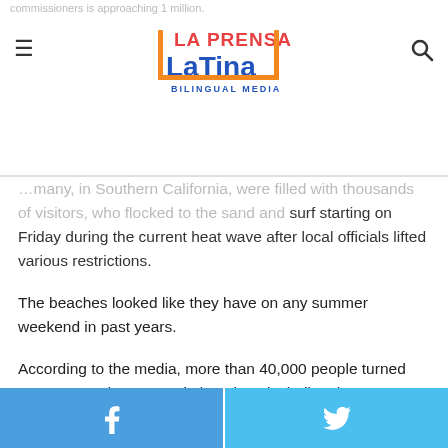La Prensa Latina Bilingual Media
commissioners is approaching 1 million.

...many, in Southern California, were filled with thousands of visitors, who flocked to the sand and surf starting on Friday during the current heat wave after local officials lifted various restrictions.
The beaches looked like they have on any summer weekend in past years.
According to the media, more than 40,000 people turned out on Saturday at certain beaches, including the one at Newport, and the crowd could be bigger on Sunday.
At the beginning of this past week, the Orange County commissioners voted to keep some beaches and open-air
Facebook share | Twitter share